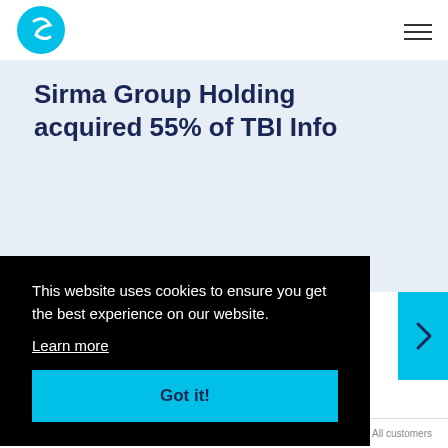Sirma Group Holding – website header with logo and navigation
Sirma Group Holding acquired 55% of TBI Info
This website uses cookies to ensure you get the best experience on our website.
Learn more
Got it!
06. CUSTOMERS   All customers